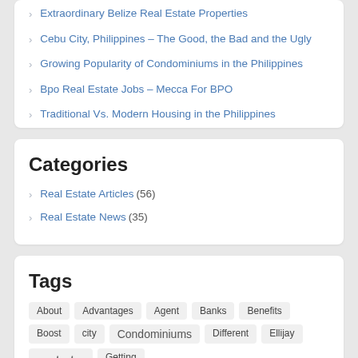Extraordinary Belize Real Estate Properties
Cebu City, Philippines – The Good, the Bad and the Ugly
Growing Popularity of Condominiums in the Philippines
Bpo Real Estate Jobs – Mecca For BPO
Traditional Vs. Modern Housing in the Philippines
Categories
Real Estate Articles (56)
Real Estate News (35)
Tags
About Advantages Agent Banks Benefits Boost city Condominiums Different Ellijay estate Getting